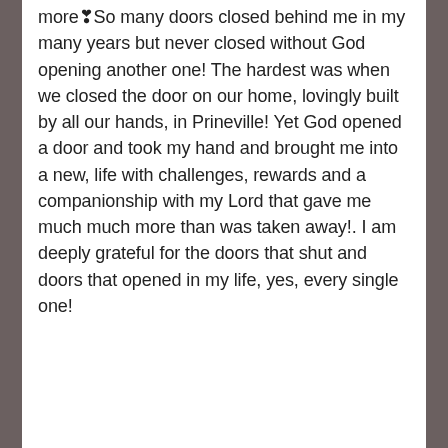more❣So many doors closed behind me in my many years but never closed without God opening another one! The hardest was when we closed the door on our home, lovingly built by all our hands, in Prineville! Yet God opened a door and took my hand and brought me into a new, life with challenges, rewards and a companionship with my Lord that gave me much much more than was taken away!. I am deeply grateful for the doors that shut and doors that opened in my life, yes, every single one!
Like
Patricia Cunningham
July 22, 2019
Oops! A good Post is what I meant to say but a God Post too! Too early in the